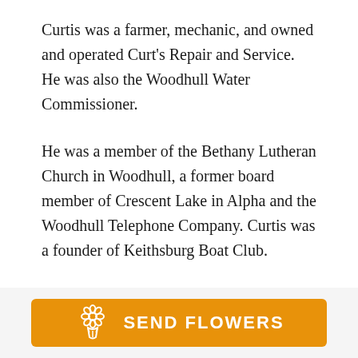Curtis was a farmer, mechanic, and owned and operated Curt's Repair and Service. He was also the Woodhull Water Commissioner.
He was a member of the Bethany Lutheran Church in Woodhull, a former board member of Crescent Lake in Alpha and the Woodhull Telephone Company. Curtis was a founder of Keithsburg Boat Club.
Survivors include two sons, James (Janet) Broline of
[Figure (other): Orange 'SEND FLOWERS' button with a flower bouquet icon in white]